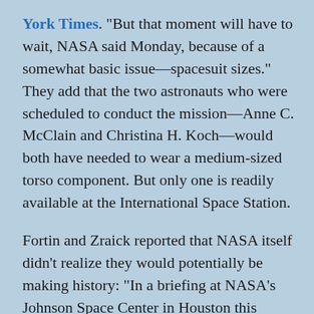York Times. "But that moment will have to wait, NASA said Monday, because of a somewhat basic issue—spacesuit sizes." They add that the two astronauts who were scheduled to conduct the mission—Anne C. McClain and Christina H. Koch—would both have needed to wear a medium-sized torso component. But only one is readily available at the International Space Station.

Fortin and Zraick reported that NASA itself didn't realize they would potentially be making history: "In a briefing at NASA's Johnson Space Center in Houston this month, Ms. Lawrence, Ms. Kagey and Kenneth Todd, the station's operations